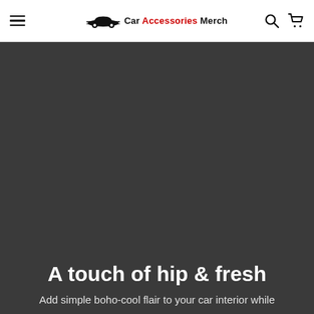Car Accessories Merch
[Figure (photo): Dark gray hero banner background image for a car accessories e-commerce website]
A touch of hip & fresh
Add simple boho-cool flair to your car interior while